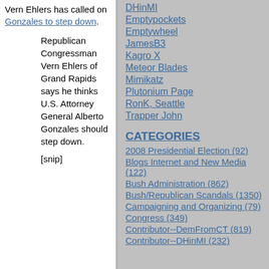Vern Ehlers has called on Gonzales to step down.
Republican Congressman Vern Ehlers of Grand Rapids says he thinks U.S. Attorney General Alberto Gonzales should step down.
[snip]
DHinMI
Emptypockets
Emptywheel
JamesB3
Kagro X
Meteor Blades
Mimikatz
Plutonium Page
RonK, Seattle
Trapper John
CATEGORIES
2008 Presidential Election (92)
Blogs Internet and New Media (122)
Bush Administration (862)
Bush/Republican Scandals (1350)
Campaigning and Organizing (79)
Congress (349)
Contributor--DemFromCT (819)
Contributor--DHinMI (232)